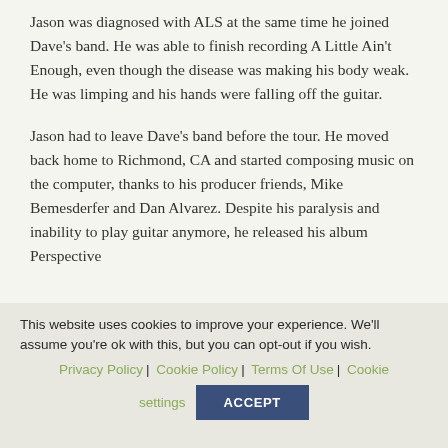Jason was diagnosed with ALS at the same time he joined Dave's band. He was able to finish recording A Little Ain't Enough, even though the disease was making his body weak. He was limping and his hands were falling off the guitar.
Jason had to leave Dave's band before the tour. He moved back home to Richmond, CA and started composing music on the computer, thanks to his producer friends, Mike Bemesderfer and Dan Alvarez. Despite his paralysis and inability to play guitar anymore, he released his album Perspective
This website uses cookies to improve your experience. We'll assume you're ok with this, but you can opt-out if you wish. Privacy Policy | Cookie Policy | Terms Of Use | Cookie settings ACCEPT